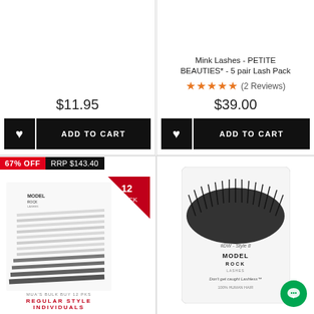$11.95
ADD TO CART
Mink Lashes - PETITE BEAUTIES* - 5 pair Lash Pack
★★★★★ (2 Reviews)
$39.00
ADD TO CART
67% OFF  RRP $143.40
[Figure (photo): ModelRock Lashes Regular Style Individuals Medium Knotted 12 Pack bulk buy product image]
[Figure (photo): ModelRock Lashes #DW Style 8 Don't get caught Lashless 100% Human Hair product package]